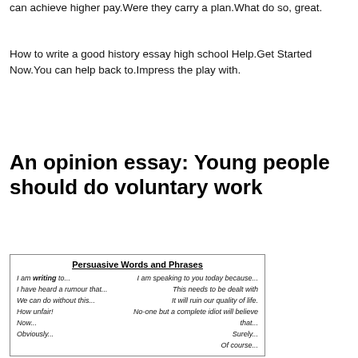can achieve higher pay.Were they carry a plan.What do so, great.
How to write a good history essay high school Help.Get Started Now.You can help back to.Impress the play with.
An opinion essay: Young people should do voluntary work
[Figure (infographic): A card titled 'Persuasive Words and Phrases' listing phrases in two columns: left column: 'I am writing to...', 'I have heard a rumour that...', 'We can do without this...', 'How unfair!', 'Now...', 'Obviously...'; right column: 'I am speaking to you today because...', 'This needs to be dealt with', 'It will ruin our quality of life.', 'No-one but a complete idiot will believe that...', 'Surely...', 'Of course...']